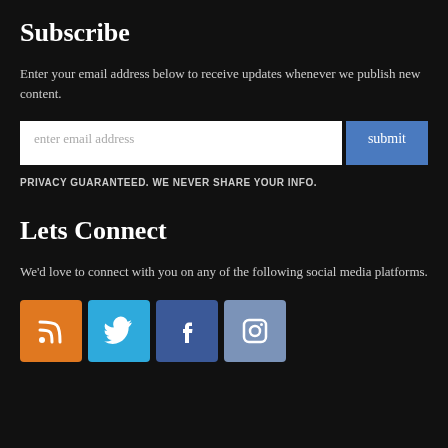Subscribe
Enter your email address below to receive updates whenever we publish new content.
enter email address [input field] submit
PRIVACY GUARANTEED. WE NEVER SHARE YOUR INFO.
Lets Connect
We'd love to connect with you on any of the following social media platforms.
[Figure (infographic): Four social media icon buttons: RSS (orange), Twitter (blue), Facebook (dark blue), Instagram (slate blue)]